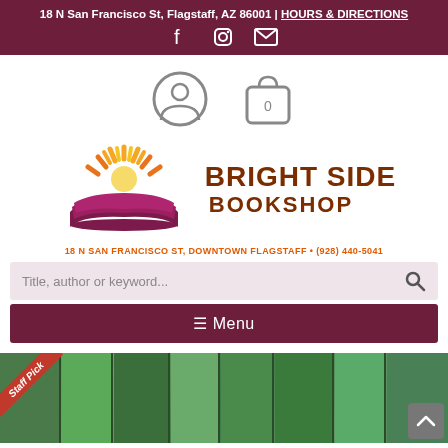18 N San Francisco St, Flagstaff, AZ 86001 | HOURS & DIRECTIONS
[Figure (logo): Bright Side Bookshop logo with sun rising over open book, social media icons (Facebook, Instagram, Email) and user/cart icons]
18 N SAN FRANCISCO ST, DOWNTOWN FLAGSTAFF • (928) 440-5041
Title, author or keyword...
≡ Menu
[Figure (photo): Staff Pick banner over a colorful book display with green and teal colored book spines]